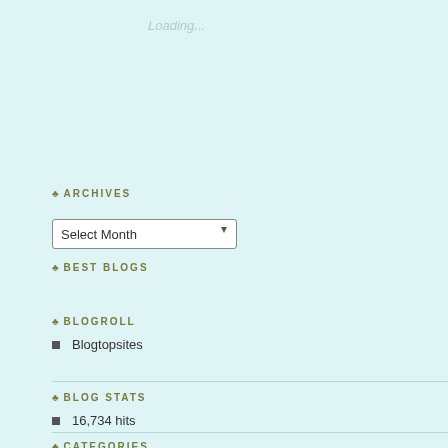Loading...
♣ ARCHIVES
Select Month
♣ BEST BLOGS
♣ BLOGROLL
Blogtopsites
♣ BLOG STATS
16,734 hits
♣ CATEGORIES